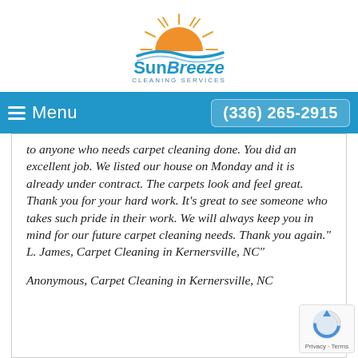[Figure (logo): SunBreeze Cleaning Services logo with orange sun and blue swoosh/wave]
≡ Menu    (336) 265-2915
to anyone who needs carpet cleaning done. You did an excellent job. We listed our house on Monday and it is already under contract. The carpets look and feel great. Thank you for your hard work. It's great to see someone who takes such pride in their work. We will always keep you in mind for our future carpet cleaning needs. Thank you again." L. James, Carpet Cleaning in Kernersville, NC"
Anonymous, Carpet Cleaning in Kernersville, NC